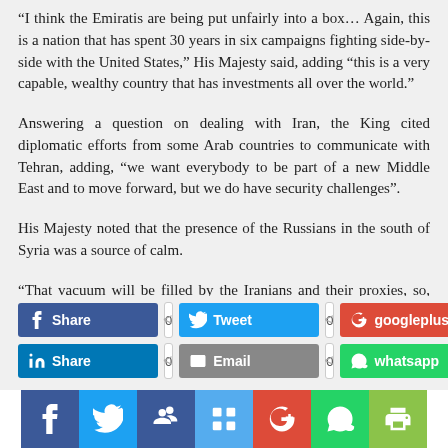“I think the Emiratis are being put unfairly into a box… Again, this is a nation that has spent 30 years in six campaigns fighting side-by-side with the United States,” His Majesty said, adding “this is a very capable, wealthy country that has investments all over the world.”
Answering a question on dealing with Iran, the King cited diplomatic efforts from some Arab countries to communicate with Tehran, adding, “we want everybody to be part of a new Middle East and to move forward, but we do have security challenges”.
His Majesty noted that the presence of the Russians in the south of Syria was a source of calm.
“That vacuum will be filled by the Iranians and their proxies, so, unfortunately, we are looking at maybe an escalation of problems on our borders,” the King said.
[Figure (infographic): Social share buttons row 1: Facebook Share (count 0), Tweet (count 0), googleplus (count 0)]
[Figure (infographic): Social share buttons row 2: LinkedIn Share (count 0), Email (count 0), whatsapp (count 0)]
[Figure (infographic): Bottom icon bar: Facebook, Twitter, people/network, square, Google+, WhatsApp, print icons]